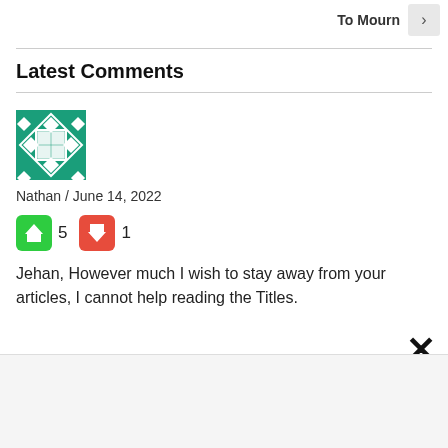To Mourn
Latest Comments
[Figure (illustration): Green geometric avatar icon with diamond/square pattern]
Nathan / June 14, 2022
👍 5  👎 1
Jehan, However much I wish to stay away from your articles, I cannot help reading the Titles.
[Figure (logo): Petco logo on dark blue background]
Your Pet's Summer Gear Is Here Petco